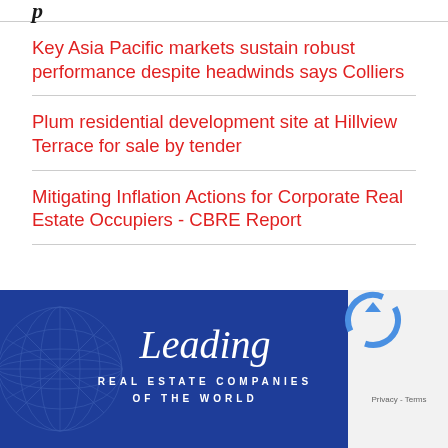p
Key Asia Pacific markets sustain robust performance despite headwinds says Colliers
Plum residential development site at Hillview Terrace for sale by tender
Mitigating Inflation Actions for Corporate Real Estate Occupiers - CBRE Report
[Figure (other): Leading Real Estate Companies of the World advertisement banner with globe graphic on blue background]